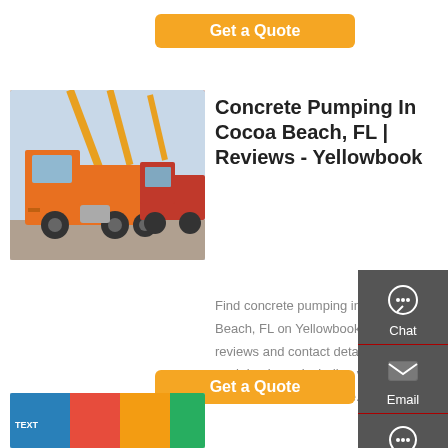[Figure (other): Orange 'Get a Quote' button at top center]
[Figure (photo): Photo of orange/red trucks with crane arms in a yard]
Concrete Pumping In Cocoa Beach, FL | Reviews - Yellowbook
Find concrete pumping in Cocoa Beach, FL on Yellowbook. Get reviews and contact details for each business including videos, opening hours and more.
[Figure (other): Orange 'Get a Quote' button below description text]
[Figure (other): Dark sidebar panel with Chat, Email, Contact, Top buttons and icons]
[Figure (photo): Partial photo at bottom left, colorful banners/trucks]